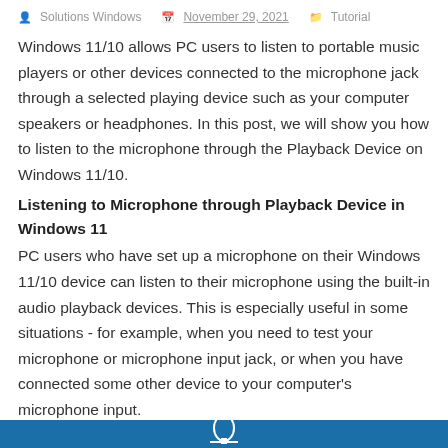Solutions Windows  November 29, 2021  Tutorial
Windows 11/10 allows PC users to listen to portable music players or other devices connected to the microphone jack through a selected playing device such as your computer speakers or headphones. In this post, we will show you how to listen to the microphone through the Playback Device on Windows 11/10.
Listening to Microphone through Playback Device in Windows 11
PC users who have set up a microphone on their Windows 11/10 device can listen to their microphone using the built-in audio playback devices. This is especially useful in some situations - for example, when you need to test your microphone or microphone input jack, or when you have connected some other device to your computer's microphone input.
[Figure (photo): Blue banner image with a microphone icon at the bottom of the page]